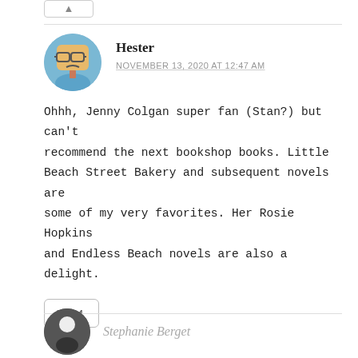[Figure (illustration): Small upvote/like button with border at top]
Hester
NOVEMBER 13, 2020 AT 12:47 AM
Ohhh, Jenny Colgan super fan (Stan?) but can't recommend the next bookshop books. Little Beach Street Bakery and subsequent novels are some of my very favorites. Her Rosie Hopkins and Endless Beach novels are also a delight.
[Figure (illustration): Like button with heart icon and +4 count]
Stephanie Berget